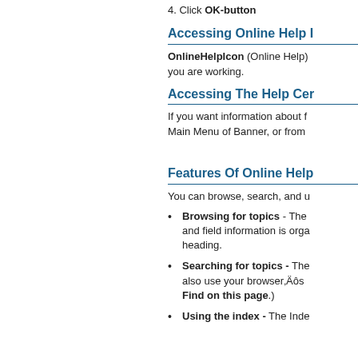4. Click OK-button
Accessing Online Help I
OnlineHelpIcon (Online Help) you are working.
Accessing The Help Cer
If you want information about f Main Menu of Banner, or from
Features Of Online Help
You can browse, search, and u
Browsing for topics - The and field information is org heading.
Searching for topics - The also use your browser,Äôs Find on this page.)
Using the index - The Inde